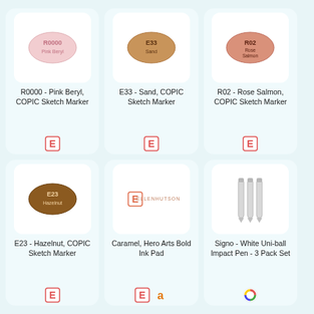[Figure (photo): R0000 Pink Beryl COPIC Sketch Marker chip - pale pink oval]
R0000 - Pink Beryl, COPIC Sketch Marker
[Figure (photo): E33 Sand COPIC Sketch Marker chip - tan/sand oval]
E33 - Sand, COPIC Sketch Marker
[Figure (photo): R02 Rose Salmon COPIC Sketch Marker chip - rose/salmon oval]
R02 - Rose Salmon, COPIC Sketch Marker
[Figure (photo): E23 Hazelnut COPIC Sketch Marker chip - brown oval]
E23 - Hazelnut, COPIC Sketch Marker
[Figure (logo): Ellenhutson logo placeholder for Caramel Hero Arts Bold Ink Pad]
Caramel, Hero Arts Bold Ink Pad
[Figure (photo): Signo White Uni-ball Impact Pen 3 Pack Set - three white pens]
Signo - White Uni-ball Impact Pen - 3 Pack Set